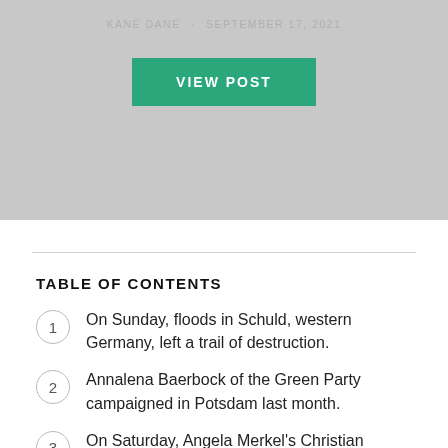[Figure (other): Gray banner with author byline and green VIEW POST button]
KANE DANE · SEPTEMBER 17, 2021
TABLE OF CONTENTS
1 On Sunday, floods in Schuld, western Germany, left a trail of destruction.
2 Annalena Baerbock of the Green Party campaigned in Potsdam last month.
3 On Saturday, Angela Merkel's Christian Democratic Union's chairman, Armin Laschet, paid a visit to an